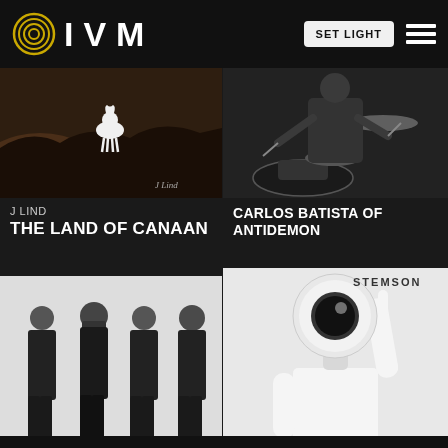[Figure (screenshot): IVM website header with logo (concentric circles + IVM text), SET LIGHT button, and hamburger menu icon on dark background]
[Figure (photo): Album cover for J Lind - The Land of Canaan, showing a white goat on dark rocky landscape with 'J Lind' watermark]
J LIND
THE LAND OF CANAAN
[Figure (photo): Black and white photo of a drummer, Carlos Batista of Antidemon, with drum kit visible]
CARLOS BATISTA OF ANTIDEMON
[Figure (photo): Four band members of 3 Days Under standing in black outfits against a light background]
SONG OF THE DAY: 3 DAYS UNDER: GOD'S GONNA CUT YOU DOWN
[Figure (photo): Stemson album cover - black and white image of person in white t-shirt with large eyeball for a head, pointing upward. STEMSON text in top right.]
STEFAN TOMLINSON OF STEMSON AND ARCHABALD